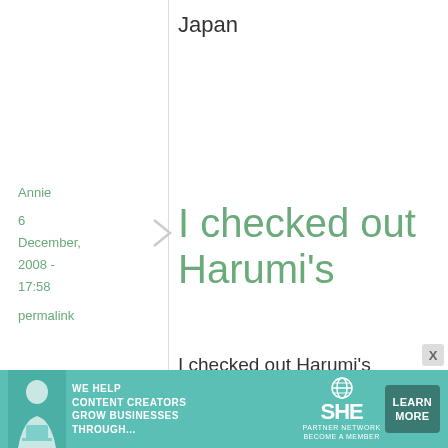Japan
Annie
6 December, 2008 - 17:58
permalink
I checked out Harumi's
I checked out Harumi's Japanese cooking from the local library months ago and thought it was really wonderful! I've been
[Figure (infographic): Advertisement banner: teal background with woman photo, text 'We help content creators grow businesses through...', SHE Partner Network logo, and 'Learn More' button]